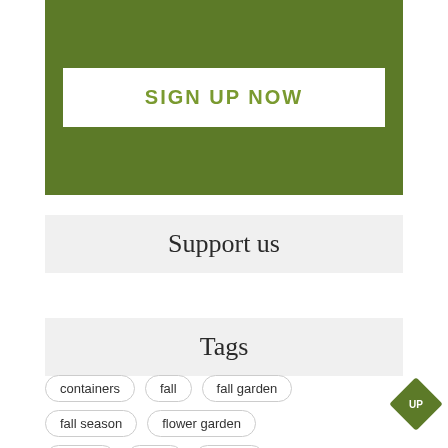SIGN UP NOW
Support us
Tags
containers
fall
fall garden
fall season
flower garden
flowers
fruits
garden
garden decor
garden design